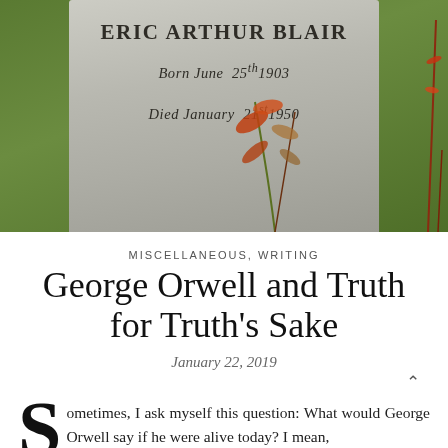[Figure (photo): Photograph of a gravestone reading ERIC ARTHUR BLAIR / BORN JUNE 25TH 1903 / DIED JANUARY 21ST 1950, surrounded by green grass and plants]
MISCELLANEOUS, WRITING
George Orwell and Truth for Truth's Sake
January 22, 2019
Sometimes, I ask myself this question: What would George Orwell say if he were alive today? I mean,